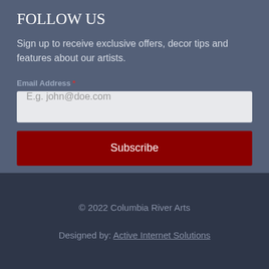FOLLOW US
Sign up to receive exclusive offers, decor tips and features about our artists.
Email Address *
E.g. john@doe.com
Subscribe
© 2022 Columbia River Arts
Designed by: Active Internet Solutions